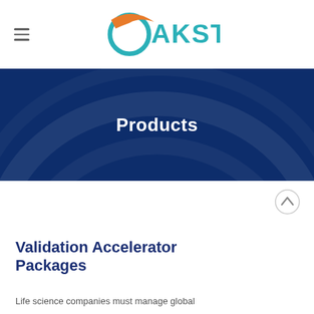[Figure (logo): Oakston logo with teal circle and orange swoosh accent, teal text reading OAKSTON]
Products
Validation Accelerator Packages
Life science companies must manage global